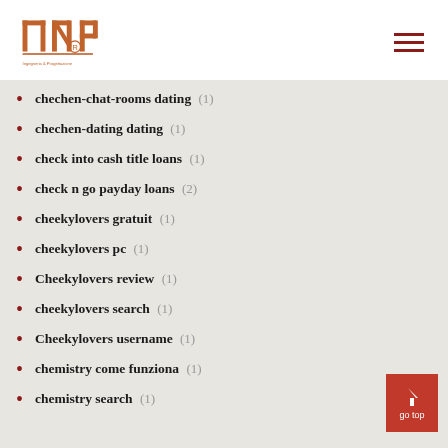INP logo and navigation
chechen-chat-rooms dating (1)
chechen-dating dating (1)
check into cash title loans (1)
check n go payday loans (2)
cheekylovers gratuit (1)
cheekylovers pc (1)
Cheekylovers review (1)
cheekylovers search (1)
Cheekylovers username (1)
chemistry come funziona (1)
chemistry search (1)